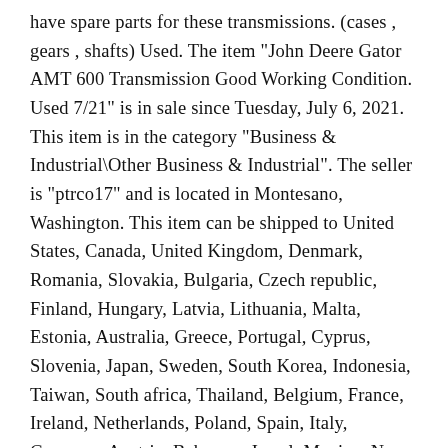have spare parts for these transmissions. (cases , gears , shafts) Used. The item "John Deere Gator AMT 600 Transmission Good Working Condition. Used 7/21" is in sale since Tuesday, July 6, 2021. This item is in the category "Business & Industrial\Other Business & Industrial". The seller is "ptrco17" and is located in Montesano, Washington. This item can be shipped to United States, Canada, United Kingdom, Denmark, Romania, Slovakia, Bulgaria, Czech republic, Finland, Hungary, Latvia, Lithuania, Malta, Estonia, Australia, Greece, Portugal, Cyprus, Slovenia, Japan, Sweden, South Korea, Indonesia, Taiwan, South africa, Thailand, Belgium, France, Ireland, Netherlands, Poland, Spain, Italy, Germany, Austria, Bahamas, Israel, Mexico, New Zealand, Philippines, Singapore, Switzerland, Norway, Saudi arabia, Ukraine, United arab emirates, Qatar, Kuwait, Bahrain, Croatia, Malaysia, Chile, Colombia, Costa rica, Panama, Trinidad and tobago, Guatemala, Honduras, Jamaica, Antigua and barbuda, Aruba, Belize, Dominica, Grenada, Saint kitts and nevis, Saint lucia, Montserrat, Turks and caicos islands, Barbados, Bangladesh, Bermuda, Brunei...